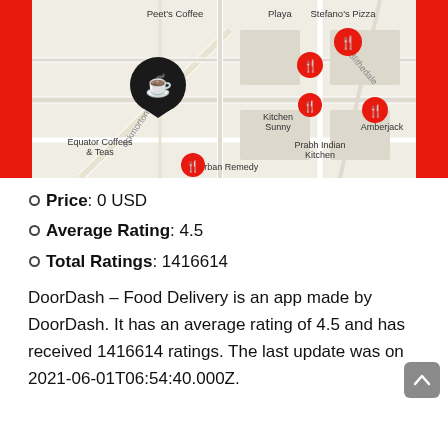[Figure (screenshot): DoorDash app map screenshot showing restaurant markers on a street map. Visible locations include Peet's Coffee, Playa, Stefano's Pizza, Equator Coffees & Teas, Kitchen Sunny, Prabh Indian Kitchen, Amberjack, Urban Remedy. Red and white utensil/coffee cup map pins visible. Red side panels on left and right.]
Price: 0 USD
Average Rating: 4.5
Total Ratings: 1416614
DoorDash – Food Delivery is an app made by DoorDash. It has an average rating of 4.5 and has received 1416614 ratings. The last update was on 2021-06-01T06:54:40.000Z.